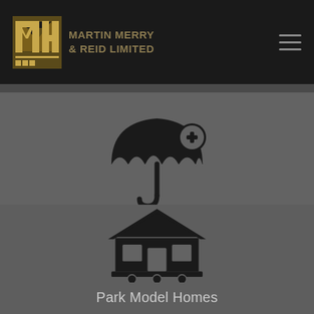Martin Merry & Reid Limited
[Figure (illustration): Umbrella with a plus/add badge icon representing umbrella liability insurance]
Umbrella Liability
[Figure (illustration): House on wheels icon representing park model homes insurance]
Park Model Homes